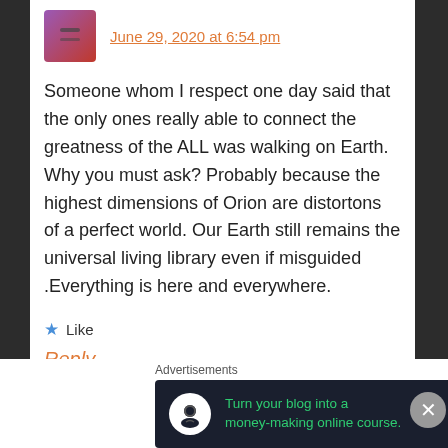June 29, 2020 at 6:54 pm
Someone whom I respect one day said that the only ones really able to connect the greatness of the ALL was walking on Earth. Why you must ask? Probably because the highest dimensions of Orion are distortons of a perfect world. Our Earth still remains the universal living library even if misguided .Everything is here and everywhere.
Like
Reply
Advertisements
[Figure (infographic): Dark advertisement banner: 'Turn your blog into a money-making online course.' with icon and arrow]